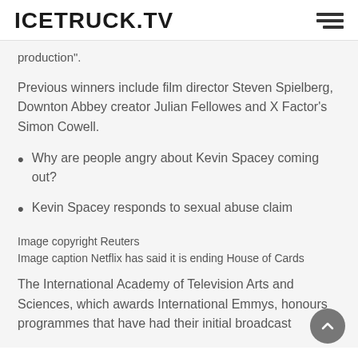ICETRUCK.TV
production".
Previous winners include film director Steven Spielberg, Downton Abbey creator Julian Fellowes and X Factor's Simon Cowell.
Why are people angry about Kevin Spacey coming out?
Kevin Spacey responds to sexual abuse claim
Image copyright Reuters
Image caption Netflix has said it is ending House of Cards
The International Academy of Television Arts and Sciences, which awards International Emmys, honours programmes that have had their initial broadcast